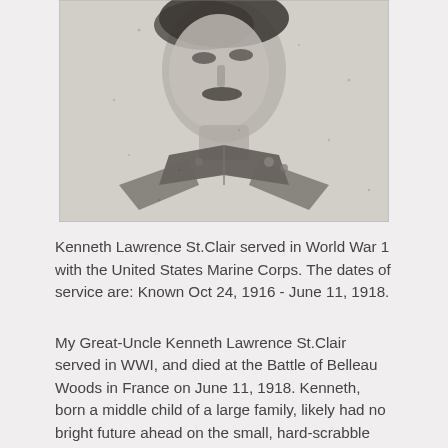[Figure (photo): Black and white portrait photograph of Kenneth Lawrence St.Clair in military uniform, showing head and upper torso, tilted slightly. The subject has a mustache and appears to be wearing a Marine Corps uniform with collar insignia.]
Kenneth Lawrence St.Clair served in World War 1 with the United States Marine Corps. The dates of service are: Known Oct 24, 1916 - June 11, 1918.
My Great-Uncle Kenneth Lawrence St.Clair served in WWI, and died at the Battle of Belleau Woods in France on June 11, 1918. Kenneth, born a middle child of a large family, likely had no bright future ahead on the small, hard-scrabble family farm in Bane, Giles County,